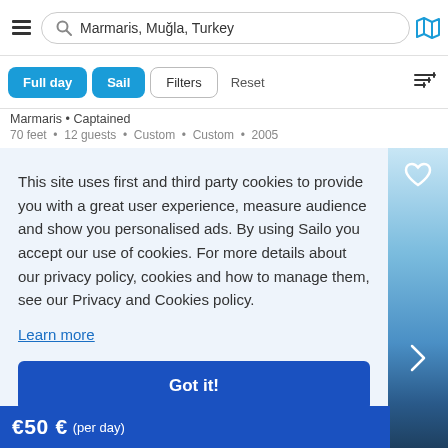[Figure (screenshot): Navigation bar with hamburger menu, search box showing 'Marmaris, Muğla, Turkey', and map icon]
[Figure (screenshot): Filter buttons row: Full day (blue), Sail (blue), Filters (outline), Reset (text), sort icon]
Marmaris • Captained
70 feet • 12 guests • Custom • Custom • 2005
This site uses first and third party cookies to provide you with a great user experience, measure audience and show you personalised ads. By using Sailo you accept our use of cookies. For more details about our privacy policy, cookies and how to manage them, see our Privacy and Cookies policy.
Learn more
Got it!
[Figure (photo): Partial photo of a sailboat on blue water with hills in background, overlaid with heart icon and right arrow navigation]
€50 € (per day)